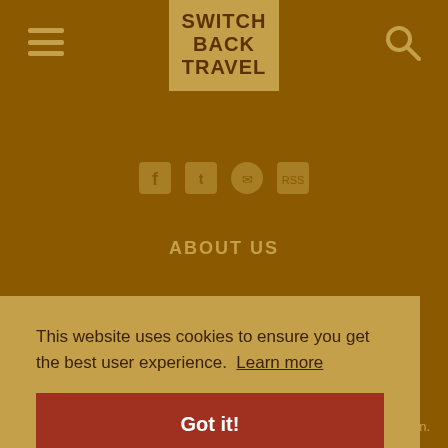[Figure (logo): Switchback Travel logo in tan box at top center, bold uppercase text reading SWITCH BACK TRAVEL]
[Figure (infographic): Social media icons row (Facebook, Twitter, email, RSS) in tan/brown colors]
ABOUT US
CONTACT
SUPPORT US
JOBS
This website uses cookies to ensure you get the best user experience. Learn more
Got it!
n.